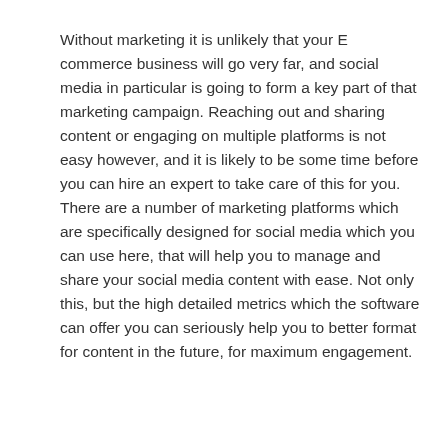Without marketing it is unlikely that your E commerce business will go very far, and social media in particular is going to form a key part of that marketing campaign. Reaching out and sharing content or engaging on multiple platforms is not easy however, and it is likely to be some time before you can hire an expert to take care of this for you. There are a number of marketing platforms which are specifically designed for social media which you can use here, that will help you to manage and share your social media content with ease. Not only this, but the high detailed metrics which the software can offer you can seriously help you to better format for content in the future, for maximum engagement.